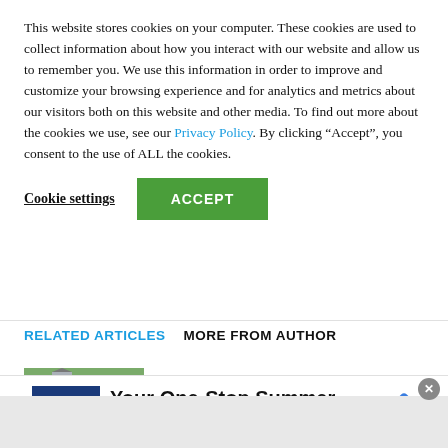This website stores cookies on your computer. These cookies are used to collect information about how you interact with our website and allow us to remember you. We use this information in order to improve and customize your browsing experience and for analytics and metrics about our visitors both on this website and other media. To find out more about the cookies we use, see our Privacy Policy. By clicking “Accept”, you consent to the use of ALL the cookies.
Cookie settings | ACCEPT
RELATED ARTICLES   MORE FROM AUTHOR
L.A. City Council Rejects Proposal Forcing Hotels to House the Homeless
[Figure (photo): Photo of a building/hotel exterior with trees and foliage]
[Figure (infographic): Petco advertisement banner: Your One-Stop Summer Pet Shop, Petco]